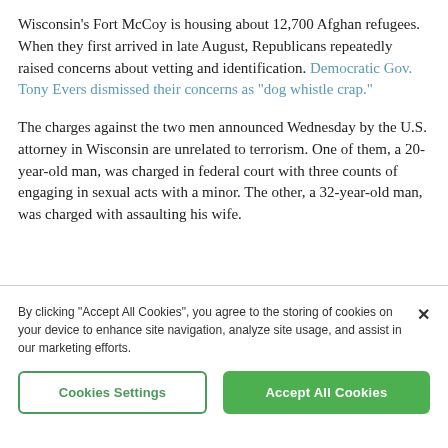Wisconsin's Fort McCoy is housing about 12,700 Afghan refugees. When they first arrived in late August, Republicans repeatedly raised concerns about vetting and identification. Democratic Gov. Tony Evers dismissed their concerns as "dog whistle crap."
The charges against the two men announced Wednesday by the U.S. attorney in Wisconsin are unrelated to terrorism. One of them, a 20-year-old man, was charged in federal court with three counts of engaging in sexual acts with a minor. The other, a 32-year-old man, was charged with assaulting his wife.
By clicking "Accept All Cookies", you agree to the storing of cookies on your device to enhance site navigation, analyze site usage, and assist in our marketing efforts.